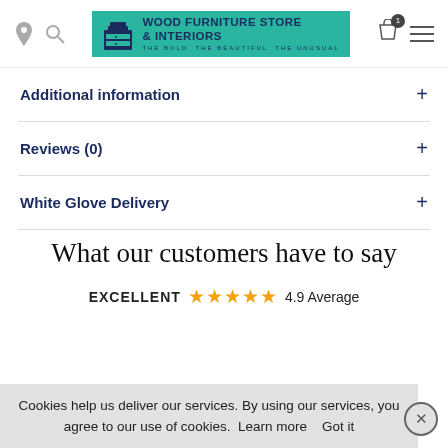[Figure (logo): Wood Furniture Store & Interiors logo with teal background, furniture icon, and text]
Additional information +
Reviews (0) +
White Glove Delivery +
What our customers have to say
EXCELLENT ★★★★★ 4.9 Average
Cookies help us deliver our services. By using our services, you agree to our use of cookies. Learn more Got it